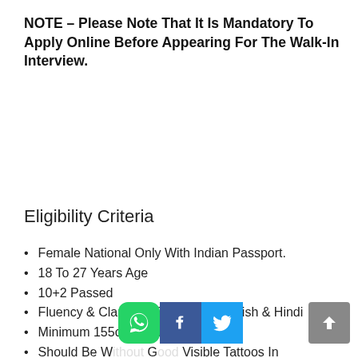NOTE – Please Note That It Is Mandatory To Apply Online Before Appearing For The Walk-In Interview.
Eligibility Criteria
Female National Only With Indian Passport.
18 To 27 Years Age
10+2 Passed
Fluency & Clarity Of Speech In English & Hindi
Minimum 155cms Height
Should Be Without No Visible Tattoos In